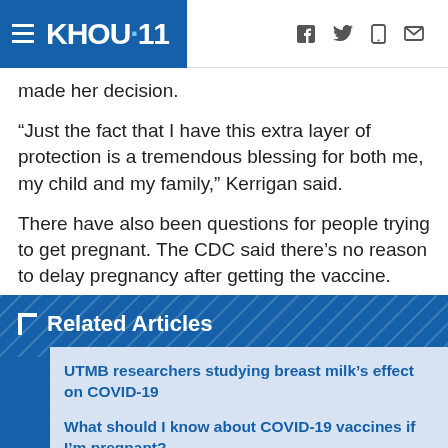KHOU 11
made her decision.
“Just the fact that I have this extra layer of protection is a tremendous blessing for both me, my child and my family,” Kerrigan said.
There have also been questions for people trying to get pregnant. The CDC said there’s no reason to delay pregnancy after getting the vaccine.
Related Articles
UTMB researchers studying breast milk’s effect on COVID-19
What should I know about COVID-19 vaccines if I’m pregnant?